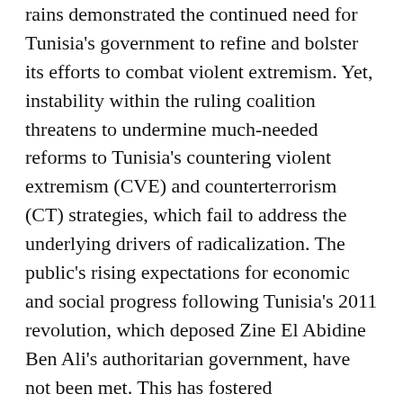rains demonstrated the continued need for Tunisia's government to refine and bolster its efforts to combat violent extremism. Yet, instability within the ruling coalition threatens to undermine much-needed reforms to Tunisia's countering violent extremism (CVE) and counterterrorism (CT) strategies, which fail to address the underlying drivers of radicalization. The public's rising expectations for economic and social progress following Tunisia's 2011 revolution, which deposed Zine El Abidine Ben Ali's authoritarian government, have not been met. This has fostered disillusionment regarding democracy's efficacy and has fed the rise of anti-establishment ideologies such as Islamic extremism. Only a stable governing coalition can also keep CVE/CT policies and programs effectively in place.